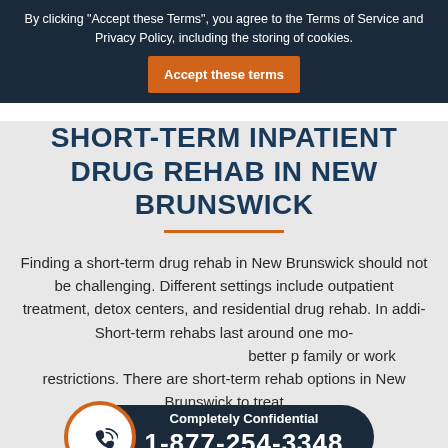By clicking "Accept these Terms", you agree to the Terms of Service and Privacy Policy, including the storing of cookies. | Accept these terms
SHORT-TERM INPATIENT DRUG REHAB IN NEW BRUNSWICK
Finding a short-term drug rehab in New Brunswick should not be challenging. Different settings include outpatient treatment, detox centers, and residential drug rehab. In addition, Short-term rehabs last around one month, and they offer better privacy, and fewer family or work restrictions. There are short-term rehab options in New Brunswick to treat
Completely Confidential
1-877-254-3348